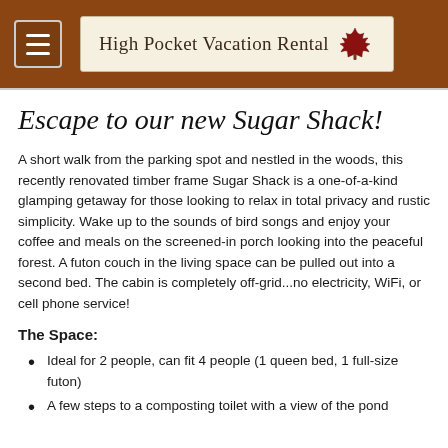High Pocket Vacation Rental
Escape to our new Sugar Shack!
A short walk from the parking spot and nestled in the woods, this recently renovated timber frame Sugar Shack is a one-of-a-kind glamping getaway for those looking to relax in total privacy and rustic simplicity. Wake up to the sounds of bird songs and enjoy your coffee and meals on the screened-in porch looking into the peaceful forest. A futon couch in the living space can be pulled out into a second bed. The cabin is completely off-grid...no electricity, WiFi, or cell phone service!
The Space:
Ideal for 2 people, can fit 4 people (1 queen bed, 1 full-size futon)
A few steps to a composting toilet with a view of the pond